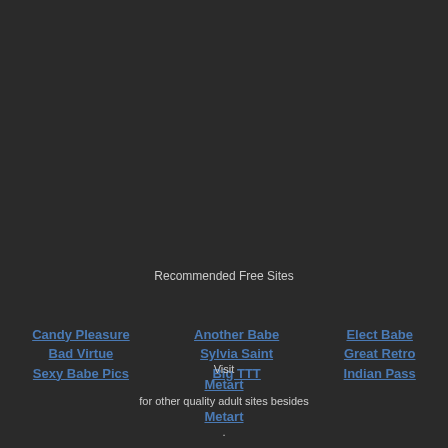Recommended Free Sites
Candy Pleasure | Bad Virtue | Sexy Babe Pics
Another Babe | Sylvia Saint | Big TTT
Elect Babe | Great Retro | Indian Pass
Visit Metart for other quality adult sites besides Metart.